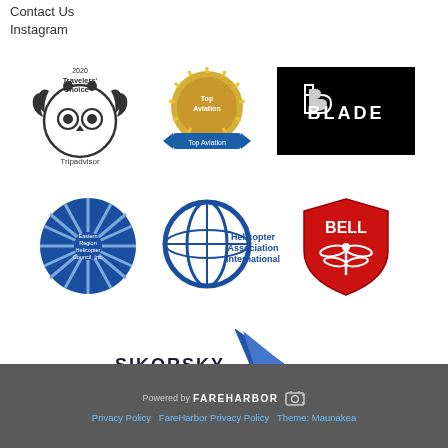Contact Us
Instagram
[Figure (logo): 2020 Travelers' Choice Tripadvisor award logo with owl emblem and laurel wreath]
[Figure (logo): Top Aviation gold seal/badge award logo]
[Figure (logo): BLADE logo - white text on black background with angular B symbol]
[Figure (logo): Eastern Region Helicopter Council Inc. circular blue logo]
[Figure (logo): Helicopter Association International blue circular globe logo]
[Figure (logo): Bell helicopter red shield logo with dragonfly emblem]
[Figure (logo): Sikorsky - A Lockheed Martin Company logo with stylized angular blade graphic]
Powered by FAREHARBOR  Privacy Policy FareHarbor Privacy Policy Theme: Maunakea